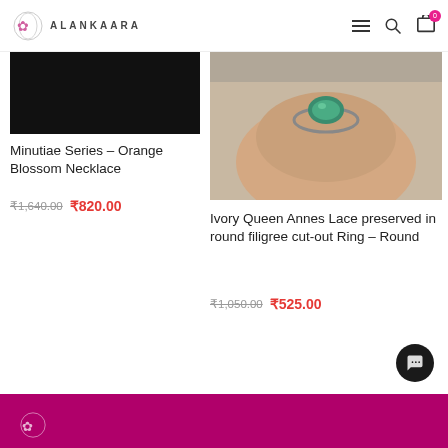ALANKAARA
[Figure (photo): Black product image placeholder for Minutiae Series Orange Blossom Necklace]
Minutiae Series – Orange Blossom Necklace
₹1,640.00  ₹820.00
[Figure (photo): Close-up photo of a ring with green gemstone on a finger]
Ivory Queen Annes Lace preserved in round filigree cut-out Ring – Round
₹1,050.00  ₹525.00